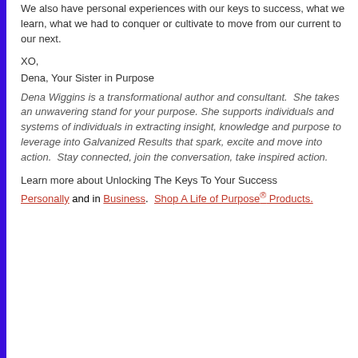We also have personal experiences with our keys to success, what we learn, what we had to conquer or cultivate to move from our current to our next.
XO,
Dena, Your Sister in Purpose
Dena Wiggins is a transformational author and consultant.  She takes an unwavering stand for your purpose. She supports individuals and systems of individuals in extracting insight, knowledge and purpose to leverage into Galvanized Results that spark, excite and move into action.  Stay connected, join the conversation, take inspired action.
Learn more about Unlocking The Keys To Your Success Personally and in Business.  Shop A Life of Purpose® Products.